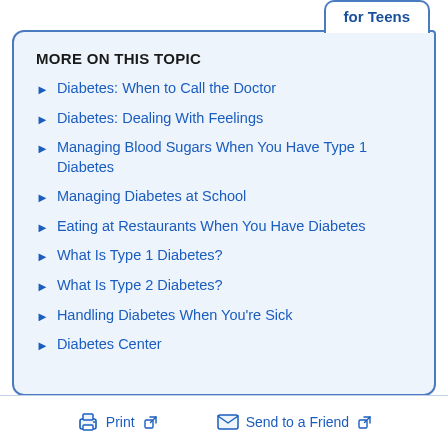MORE ON THIS TOPIC
Diabetes: When to Call the Doctor
Diabetes: Dealing With Feelings
Managing Blood Sugars When You Have Type 1 Diabetes
Managing Diabetes at School
Eating at Restaurants When You Have Diabetes
What Is Type 1 Diabetes?
What Is Type 2 Diabetes?
Handling Diabetes When You're Sick
Diabetes Center
Print   Send to a Friend